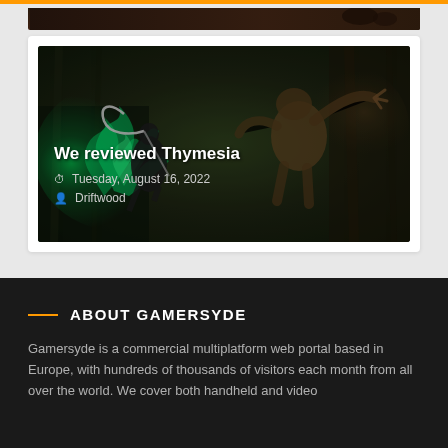[Figure (screenshot): Top portion of a game screenshot showing a dark scene]
[Figure (screenshot): Game screenshot for Thymesia showing a dark fantasy combat scene with green magical effects. A character in dark armor wields a scythe against an enemy in a murky brown environment.]
We reviewed Thymesia
Tuesday, August 16, 2022
Driftwood
ABOUT GAMERSYDE
Gamersyde is a commercial multiplatform web portal based in Europe, with hundreds of thousands of visitors each month from all over the world. We cover both handheld and video